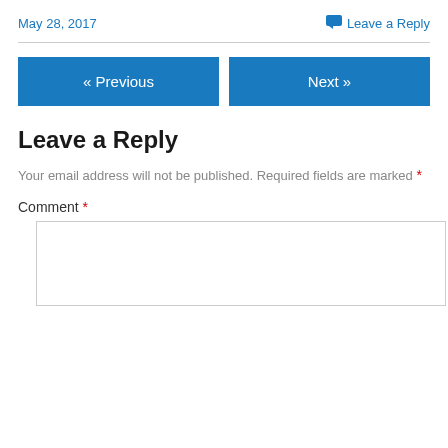May 28, 2017
Leave a Reply
« Previous
Next »
Leave a Reply
Your email address will not be published. Required fields are marked *
Comment *